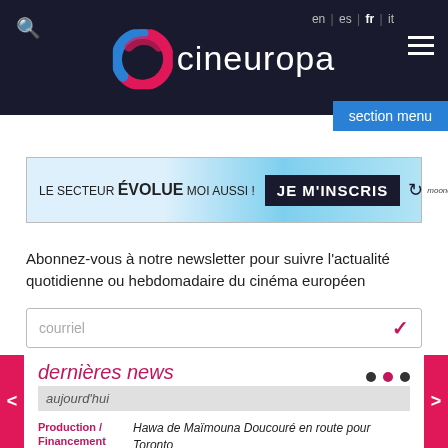cineuropa — en | es | fr | it
[Figure (screenshot): Advertisement banner: LE SECTEUR ÉVOLUE MOI AUSSI ! JE M'INSCRIS — Moonday branding]
Abonnez-vous à notre newsletter pour suivre l'actualité quotidienne ou hebdomadaire du cinéma européen
courriel
dernières news
aujourd'hui
Production / Financement — France — Hawa de Maïmouna Doucouré en route pour Toronto
Industrie / Marché — La 2e édition de Full Circle Lab Nouvelle-Aquitaine annonce sa sélection